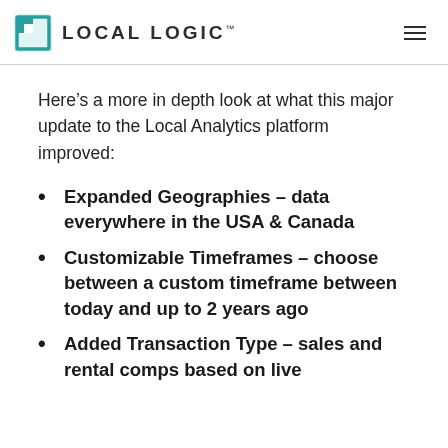LOCAL LOGIC
Here’s a more in depth look at what this major update to the Local Analytics platform improved:
Expanded Geographies – data everywhere in the USA & Canada
Customizable Timeframes – choose between a custom timeframe between today and up to 2 years ago
Added Transaction Type – sales and rental comps based on live